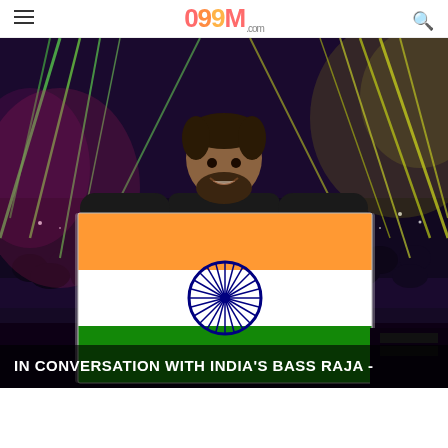099.com
[Figure (photo): A man smiling and holding an Indian tricolor flag (saffron, white, green with Ashoka Chakra) at a music concert/festival stage with colorful laser lights (green and yellow) and a large crowd visible in the background.]
IN CONVERSATION WITH INDIA'S BASS RAJA -